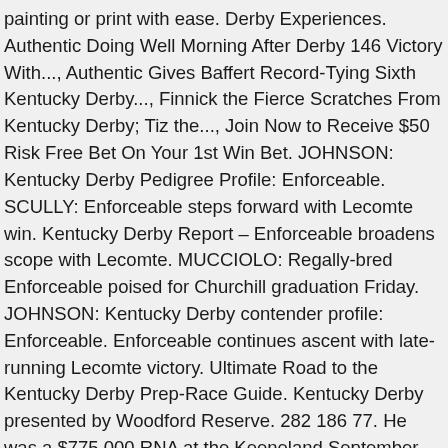painting or print with ease. Derby Experiences. Authentic Doing Well Morning After Derby 146 Victory With..., Authentic Gives Baffert Record-Tying Sixth Kentucky Derby..., Finnick the Fierce Scratches From Kentucky Derby; Tiz the..., Join Now to Receive $50 Risk Free Bet On Your 1st Win Bet. JOHNSON: Kentucky Derby Pedigree Profile: Enforceable. SCULLY: Enforceable steps forward with Lecomte win. Kentucky Derby Report – Enforceable broadens scope with Lecomte. MUCCIOLO: Regally-bred Enforceable poised for Churchill graduation Friday. JOHNSON: Kentucky Derby contender profile: Enforceable. Enforceable continues ascent with late-running Lecomte victory. Ultimate Road to the Kentucky Derby Prep-Race Guide. Kentucky Derby presented by Woodford Reserve. 282 186 77. He was a $775,000 RNA at the Keeneland September yearling sale. Pictures are subject to selection. horse images. White Horse Winter Snow. Enforceable is by Tapit, who just so happens to be the world's most gifted and productive sire of Thoroughbred race horses. He then trained up to the Claiborne Breeders' Futurity